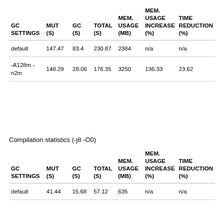| GC SETTINGS | MUT (S) | GC (S) | TOTAL (S) | MEM. USAGE (MB) | MEM. USAGE INCREASE (%) | TIME REDUCTION (%) |
| --- | --- | --- | --- | --- | --- | --- |
| default | 147.47 | 83.4 | 230.87 | 2384 | n/a | n/a |
| -A128m -n2m | 148.29 | 28.06 | 176.35 | 3250 | 136.33 | 23.62 |
Compilation statistics (-j8 -O0)
| GC SETTINGS | MUT (S) | GC (S) | TOTAL (S) | MEM. USAGE (MB) | MEM. USAGE INCREASE (%) | TIME REDUCTION (%) |
| --- | --- | --- | --- | --- | --- | --- |
| default | 41.44 | 15.68 | 57.12 | 635 | n/a | n/a |